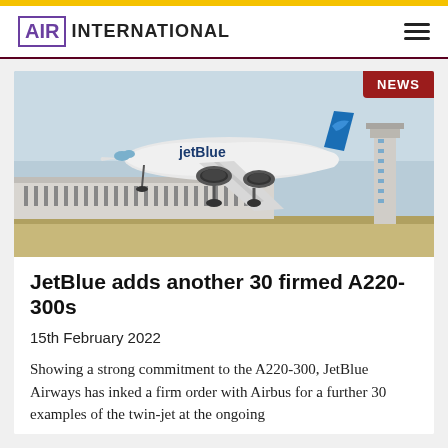AIR INTERNATIONAL
[Figure (photo): JetBlue Airways aircraft taking off at an airport, with airport terminal and control tower visible in the background. The aircraft is white with blue JetBlue livery. A 'NEWS' badge appears in the top-right corner of the image.]
JetBlue adds another 30 firmed A220-300s
15th February 2022
Showing a strong commitment to the A220-300, JetBlue Airways has inked a firm order with Airbus for a further 30 examples of the twin-jet at the ongoing